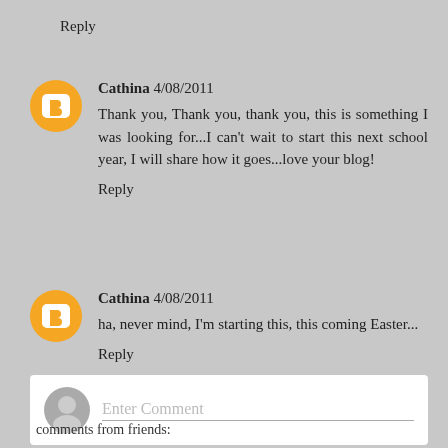Reply
Cathina 4/08/2011
Thank you, Thank you, thank you, this is something I was looking for...I can't wait to start this next school year, I will share how it goes...love your blog!
Reply
Cathina 4/08/2011
ha, never mind, I'm starting this, this coming Easter...
Reply
Enter Comment
comments from friends: